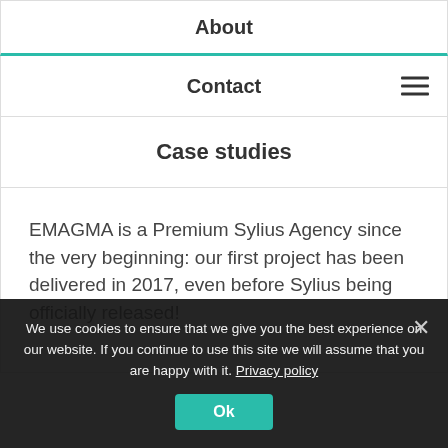About
Contact
Case studies
EMAGMA is a Premium Sylius Agency since the very beginning: our first project has been delivered in 2017, even before Sylius being officially released!
We use cookies to ensure that we give you the best experience on our website. If you continue to use this site we will assume that you are happy with it. Privacy policy